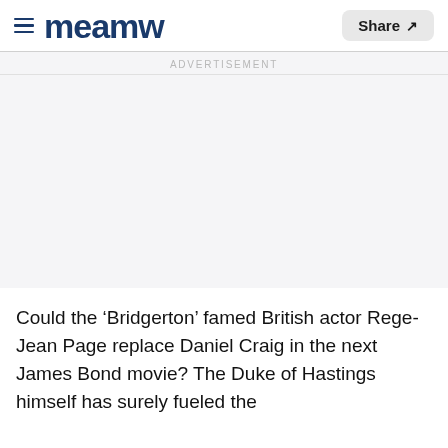meamw | Share
ADVERTISEMENT
Could the ‘Bridgerton’ famed British actor Rege-Jean Page replace Daniel Craig in the next James Bond movie? The Duke of Hastings himself has surely fueled the